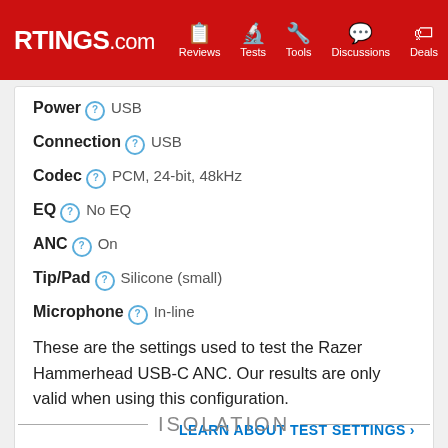RTINGS.com | Reviews | Tests | Tools | Discussions | Deals
Power  USB
Connection  USB
Codec  PCM, 24-bit, 48kHz
EQ  No EQ
ANC  On
Tip/Pad  Silicone (small)
Microphone  In-line
These are the settings used to test the Razer Hammerhead USB-C ANC. Our results are only valid when using this configuration.
LEARN ABOUT TEST SETTINGS >
ISOLATION